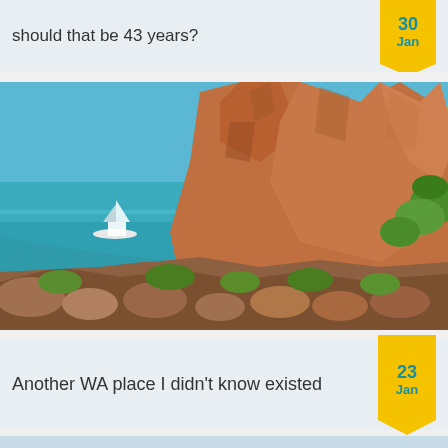should that be 43 years?
[Figure (photo): Coastal landscape with large reddish-brown rock formation, turquoise ocean water with a sailboat visible in the background, green shrubs at the base of the rocks, and smaller boulders in the foreground. Bright sunny day.]
Another WA place I didn't know existed